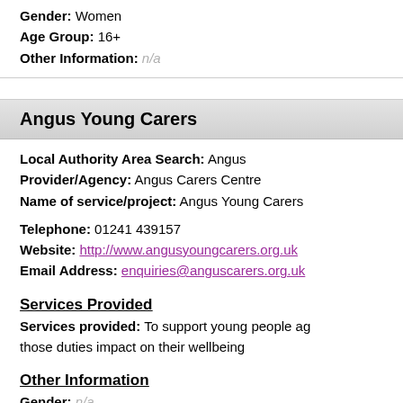Gender: Women
Age Group: 16+
Other Information: n/a
Angus Young Carers
Local Authority Area Search: Angus
Provider/Agency: Angus Carers Centre
Name of service/project: Angus Young Carers
Telephone: 01241 439157
Website: http://www.angusyoungcarers.org.uk
Email Address: enquiries@anguscarers.org.uk
Services Provided
Services provided: To support young people ag... those duties impact on their wellbeing
Other Information
Gender: n/a
Age Group: